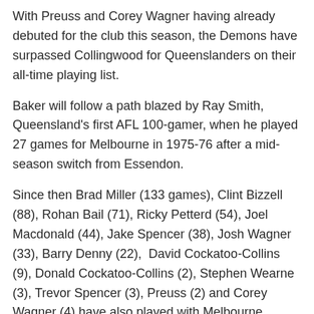With Preuss and Corey Wagner having already debuted for the club this season, the Demons have surpassed Collingwood for Queenslanders on their all-time playing list.
Baker will follow a path blazed by Ray Smith, Queensland's first AFL 100-gamer, when he played 27 games for Melbourne in 1975-76 after a mid-season switch from Essendon.
Since then Brad Miller (133 games), Clint Bizzell (88), Rohan Bail (71), Ricky Petterd (54), Joel Macdonald (44), Jake Spencer (38), Josh Wagner (33), Barry Denny (22),  David Cockatoo-Collins (9), Donald Cockatoo-Collins (2), Stephen Wearne (3), Trevor Spencer (3), Preuss (2) and Corey Wagner (4) have also played with Melbourne.
Josh Wagner will play alongside Baker tonight, with